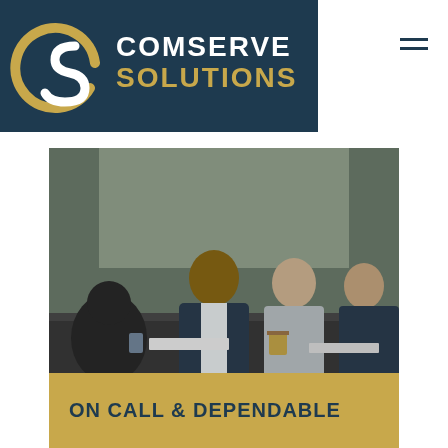[Figure (logo): Comserve Solutions logo with circular S icon in white/gold on dark navy background, company name in white and gold text]
[Figure (photo): Business meeting photo: four people seated around a conference table, man in suit gesturing while speaking to two women and another person with back to camera, large windows in background]
ON CALL & DEPENDABLE